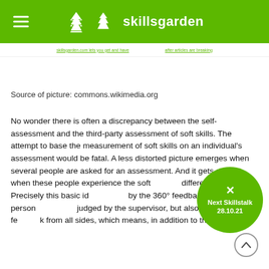skillsgarden
Source of picture: commons.wikimedia.org
No wonder there is often a discrepancy between the self-assessment and the third-party assessment of soft skills. The attempt to base the measurement of soft skills on an individual's assessment would be fatal. A less distorted picture emerges when several people are asked for an assessment. And it gets e… when these people experience the soft … different situations. Precisely this basic id… by the 360° feedback, in which a person … judged by the supervisor, but also receives fe…k from all sides, which means, in addition to the